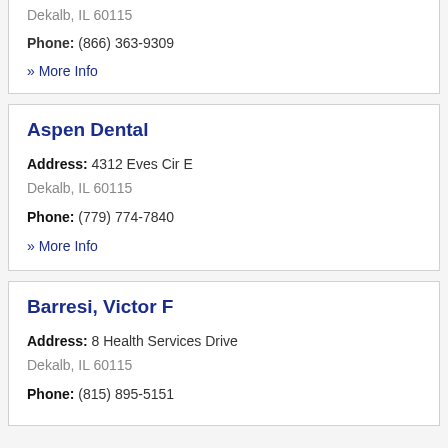Dekalb, IL 60115
Phone: (866) 363-9309
» More Info
Aspen Dental
Address: 4312 Eves Cir E
Dekalb, IL 60115
Phone: (779) 774-7840
» More Info
Barresi, Victor F
Address: 8 Health Services Drive
Dekalb, IL 60115
Phone: (815) 895-5151